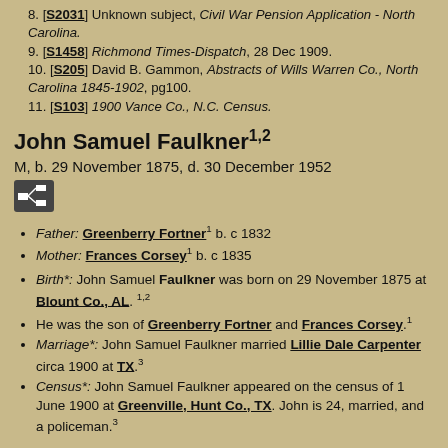8. [S2031] Unknown subject, Civil War Pension Application - North Carolina.
9. [S1458] Richmond Times-Dispatch, 28 Dec 1909.
10. [S205] David B. Gammon, Abstracts of Wills Warren Co., North Carolina 1845-1902, pg100.
11. [S103] 1900 Vance Co., N.C. Census.
John Samuel Faulkner
M, b. 29 November 1875, d. 30 December 1952
Father: Greenberry Fortner b. c 1832
Mother: Frances Corsey b. c 1835
Birth*: John Samuel Faulkner was born on 29 November 1875 at Blount Co., AL.
He was the son of Greenberry Fortner and Frances Corsey.
Marriage*: John Samuel Faulkner married Lillie Dale Carpenter circa 1900 at TX.
Census*: John Samuel Faulkner appeared on the census of 1 June 1900 at Greenville, Hunt Co., TX. John is 24, married, and a policeman.